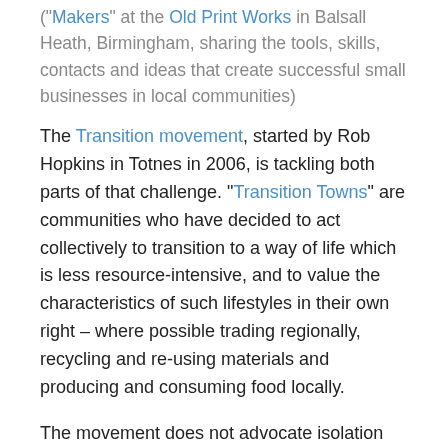("Makers" at the Old Print Works in Balsall Heath, Birmingham, sharing the tools, skills, contacts and ideas that create successful small businesses in local communities)
The Transition movement, started by Rob Hopkins in Totnes in 2006, is tackling both parts of that challenge. "Transition Towns" are communities who have decided to act collectively to transition to a way of life which is less resource-intensive, and to value the characteristics of such lifestyles in their own right – where possible trading regionally, recycling and re-using materials and producing and consuming food locally.
The movement does not advocate isolation from the global industrial economy, but it does advocate that local, alternative products and services in some cases can be more sustainable than mass-produced commodities; that